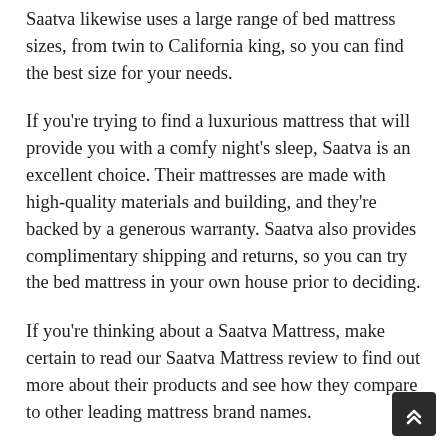Saatva likewise uses a large range of bed mattress sizes, from twin to California king, so you can find the best size for your needs.
If you're trying to find a luxurious mattress that will provide you with a comfy night's sleep, Saatva is an excellent choice. Their mattresses are made with high-quality materials and building, and they're backed by a generous warranty. Saatva also provides complimentary shipping and returns, so you can try the bed mattress in your own house prior to deciding.
If you're thinking about a Saatva Mattress, make certain to read our Saatva Mattress review to find out more about their products and see how they compare to other leading mattress brand names.
Saatva Classic Mattress Review Saatva Classic